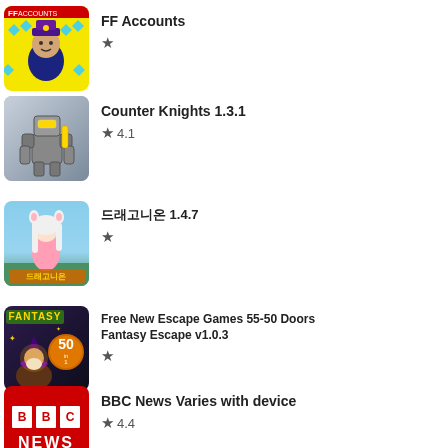[Figure (screenshot): FF Accounts app icon - yellow background with character wearing hat surrounded by diamonds]
FF Accounts
★
[Figure (screenshot): Counter Knights 1.3.1 app icon - grey background with robot/knight character]
Counter Knights 1.3.1
★ 4.1
[Figure (screenshot): Korean dragon game app icon with anime girl character]
드래곤디온 1.4.7
★
[Figure (screenshot): Fantasy Escape game icon with wizard and fantasy elements]
Free New Escape Games 55-50 Doors Fantasy Escape v1.0.3
★
[Figure (logo): BBC News red logo icon]
BBC News Varies with device
★ 4.4